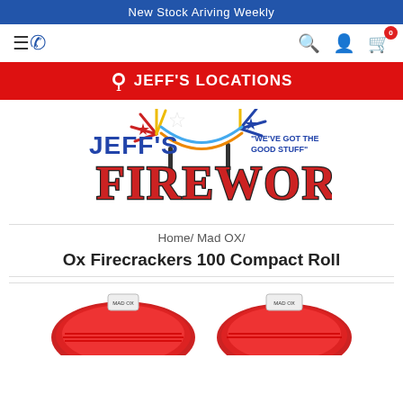New Stock Ariving Weekly
[Figure (screenshot): Navigation bar with hamburger menu, phone icon, search icon, user icon, and cart icon with badge showing 0]
JEFF'S LOCATIONS
[Figure (logo): Jeff's Fireworks logo with colorful fireworks graphic and tagline 'We've Got The Good Stuff']
Home / Mad OX /
Ox Firecrackers 100 Compact Roll
[Figure (photo): Two red rolled firecrackers product images partially visible at bottom of page]